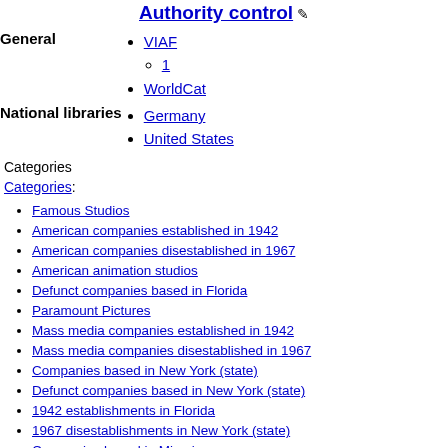Authority control
VIAF
1
WorldCat
Germany
United States
Categories
Categories:
Famous Studios
American companies established in 1942
American companies disestablished in 1967
American animation studios
Defunct companies based in Florida
Paramount Pictures
Mass media companies established in 1942
Mass media companies disestablished in 1967
Companies based in New York (state)
Defunct companies based in New York (state)
1942 establishments in Florida
1967 disestablishments in New York (state)
Companies based in Miami